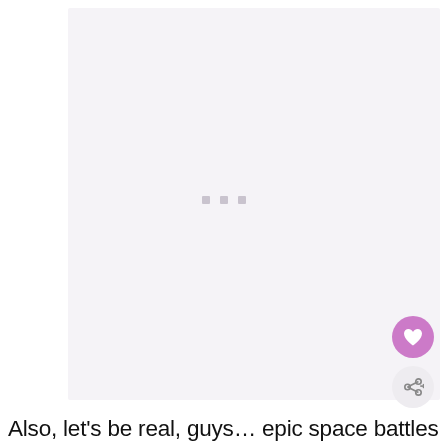[Figure (screenshot): Loading screen or placeholder area with a light pinkish-gray background and three small gray dots/squares in the center, resembling a loading indicator. A pink heart button and a share button are visible in the bottom-right corner.]
Also, let's be real, guys... epic space battles